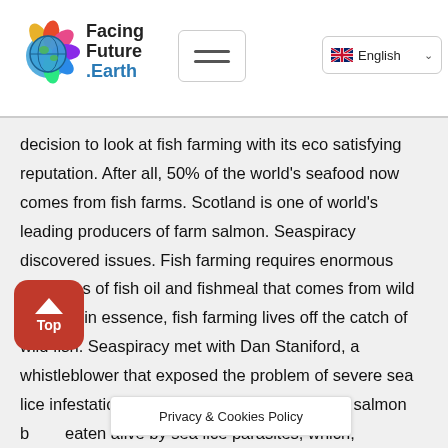Facing Future .Earth — navigation bar with hamburger menu and English language selector
decision to look at fish farming with its eco satisfying reputation. After all, 50% of the world's seafood now comes from fish farms. Scotland is one of world's leading producers of farm salmon. Seaspiracy discovered issues. Fish farming requires enormous quantities of fish oil and fishmeal that comes from wild fish. So, in essence, fish farming lives off the catch of wild fish. Seaspiracy met with Dan Staniford, a whistleblower that exposed the problem of severe sea lice infestations in the farms. The crew filmed salmon being eaten alive by sea lice parasites, which, according to Staniford, is common in fish farms worldwide. Additionally, and kind of fish farm
[Figure (other): Red 'Top' scroll-to-top button with upward arrow]
[Figure (other): Privacy & Cookies Policy banner overlay]